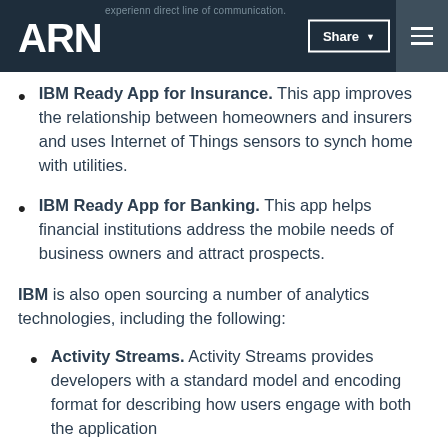ARN
IBM Ready App for Insurance. This app improves the relationship between homeowners and insurers and uses Internet of Things sensors to synch home with utilities.
IBM Ready App for Banking. This app helps financial institutions address the mobile needs of business owners and attract prospects.
IBM is also open sourcing a number of analytics technologies, including the following:
Activity Streams. Activity Streams provides developers with a standard model and encoding format for describing how users engage with both the application